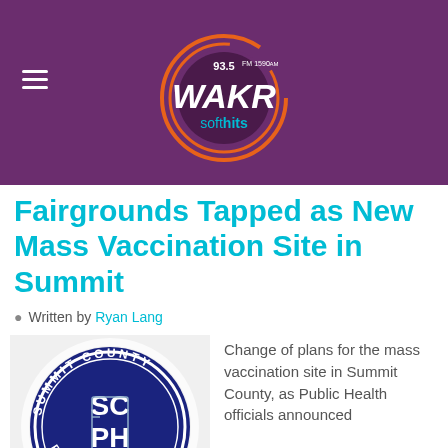93.5FM 1590AM WAKR soft hits
Fairgrounds Tapped as New Mass Vaccination Site in Summit
Written by Ryan Lang
[Figure (logo): Summit County Public Health circular logo with SCPH letters in center on dark blue background]
Change of plans for the mass vaccination site in Summit County, as Public Health officials announced